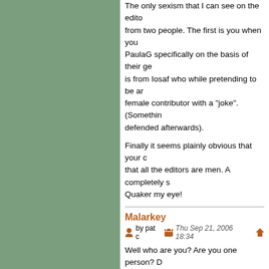The only sexism that I can see on the editorial board is from two people. The first is you when you blocked PaulaG specifically on the basis of their gender. The second is from Iosaf who while pretending to be an admin insulted a female contributor with a "joke". (Something he vigorously defended afterwards).
Finally it seems plainly obvious that your complaint is that all the editors are men. A completely sexist attitude. Quaker my eye!
Malarkey
by pat c   Thu Sep 21, 2006 18:34
Well who are you? Are you one person? Do you think Institutional Sexism exists anywhere in the...
"The only sexism that I can see on the editorial board is from two people. The first is you when you blocked PaulaG specifically on the basis of their ge...
Dont know what you mean there. Paula G had nothing blocking becoming an editor.
I didnt block Paula
Iosaf didnt block Paula
Chris didnt block Paula